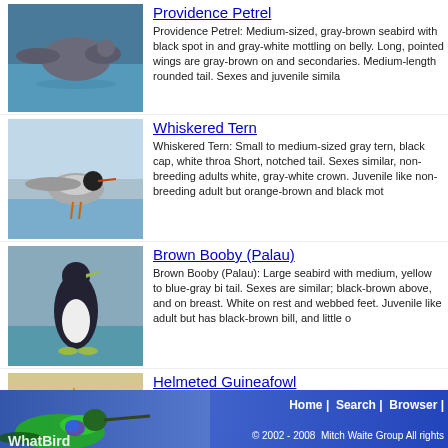[Figure (photo): Providence Petrel bird photo - gray-brown seabird on water]
Providence Petrel
Providence Petrel: Medium-sized, gray-brown seabird with black spot in and gray-white mottling on belly. Long, pointed wings are gray-brown on and secondaries. Medium-length rounded tail. Sexes and juvenile simila
[Figure (photo): Whiskered Tern bird photo - gray tern with black cap]
Whiskered Tern
Whiskered Tern: Small to medium-sized gray tern, black cap, white throa Short, notched tail. Sexes similar, non-breeding adults white, gray-white crown. Juvenile like non-breeding adult but orange-brown and black mot
[Figure (photo): Brown Booby Palau bird photo - large seabird black and white]
Brown Booby (Palau)
Brown Booby (Palau): Large seabird with medium, yellow to blue-gray bi tail. Sexes are similar; black-brown above, and on breast. White on rest and webbed feet. Juvenile like adult but has black-brown bill, and little o
[Figure (photo): Helmeted Guineafowl bird photo - large bird with blue featherless head]
Helmeted Guineafowl
Helmeted Guineafowl: A large bird with a unique blue, featherless head a facial appendages and black filoplumes on their hindneck. They are prim woodlands and are omnivorous.
[Figure (photo): Ridgway's Rail bird photo - medium sized bird with long bill]
Ridgway's Rail
Ridgway's Rail: A medium sized bird with a long, slightly decurved slend Upperwing-coverts are mostly gray, with buff-brown and dark streaks. It h black centers and duller, more olive fringes. Sexes are similar. Juvenile i They live in salt and brackish marshes and feed on mussels, clams and the Clapper Rail into three species, the Clapper Rail, Ridgway's Rail and
Home | Search | Browser | © 2002 - 2008 Mitch Waite Group All rights